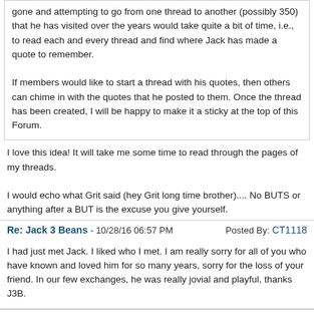gone and attempting to go from one thread to another (possibly 350) that he has visited over the years would take quite a bit of time, i.e., to read each and every thread and find where Jack has made a quote to remember.

If members would like to start a thread with his quotes, then others can chime in with the quotes that he posted to them. Once the thread has been created, I will be happy to make it a sticky at the top of this Forum.
I love this idea! It will take me some time to read through the pages of my threads.

I would echo what Grit said (hey Grit long time brother).... No BUTS or anything after a BUT is the excuse you give yourself.
Re: Jack 3 Beans - 10/28/16 06:57 PM  Posted By: CT1118
I had just met Jack. I liked who I met. I am really sorry for all of you who have known and loved him for so many years, sorry for the loss of your friend. In our few exchanges, he was really jovial and playful, thanks J3B.
Re: Jack 3 Beans - 10/29/16 05:07 AM  Posted By: job